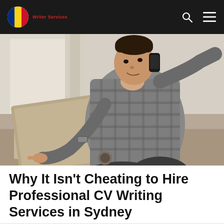Writer Services
[Figure (photo): A man wearing a plaid shirt sitting cross-legged, talking on a mobile phone while pointing at a laptop screen. Indoor setting with natural light from a window in the background.]
Why It Isn't Cheating to Hire Professional CV Writing Services in Sydney